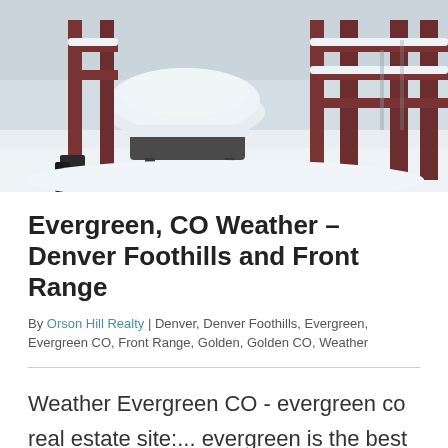[Figure (photo): Winter outdoor scene showing a snow-covered grill/barbecue on a deck with dark red wooden railing and railings visible in background, heavy snow covering all surfaces, overcast sky]
Evergreen, CO Weather – Denver Foothills and Front Range
By Orson Hill Realty | Denver, Denver Foothills, Evergreen, Evergreen CO, Front Range, Golden, Golden CO, Weather
Weather Evergreen CO - evergreen co real estate site:... evergreen is the best Denver suburb if you want to live in the